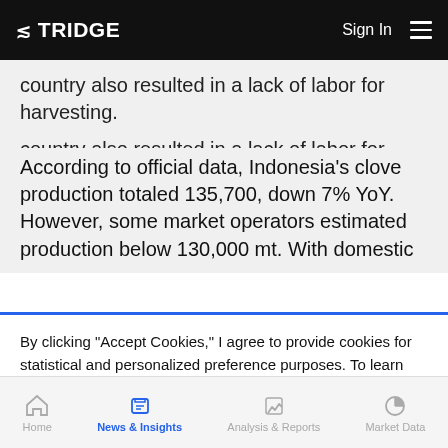TRIDGE  Sign In
country also resulted in a lack of labor for harvesting.
According to official data, Indonesia's clove production totaled 135,700, down 7% YoY. However, some market operators estimated production below 130,000 mt. With domestic
By clicking "Accept Cookies," I agree to provide cookies for statistical and personalized preference purposes. To learn more about our cookies, please read our Privacy Policy.
Accept Cookies
Home  News & Insights  Analysis & Reports  Market Data